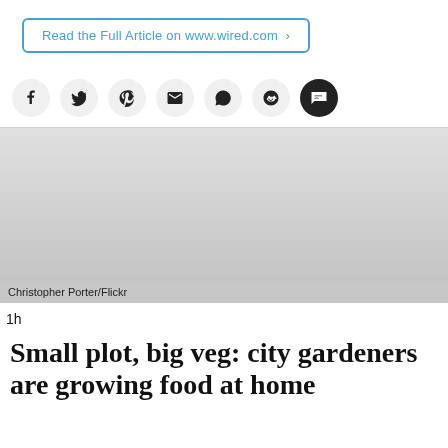Read the Full Article on www.wired.com >
[Figure (other): Social media share icons: Facebook, Twitter, Pinterest, Email, WhatsApp, Reddit, SMS]
[Figure (photo): Photograph of a city garden, credit: Christopher Porter/Flickr]
Christopher Porter/Flickr
1h
Small plot, big veg: city gardeners are growing food at home